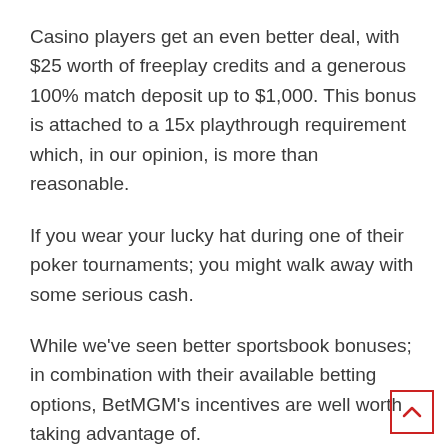Casino players get an even better deal, with $25 worth of freeplay credits and a generous 100% match deposit up to $1,000. This bonus is attached to a 15x playthrough requirement which, in our opinion, is more than reasonable.
If you wear your lucky hat during one of their poker tournaments; you might walk away with some serious cash.
While we've seen better sportsbook bonuses; in combination with their available betting options, BetMGM's incentives are well worth taking advantage of.
Banking Options: 3.9/5